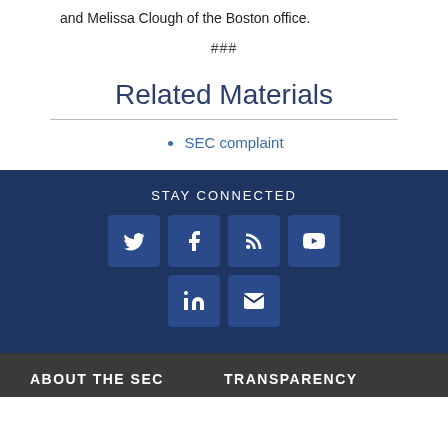and Melissa Clough of the Boston office.
###
Related Materials
SEC complaint
STAY CONNECTED
ABOUT THE SEC    TRANSPARENCY